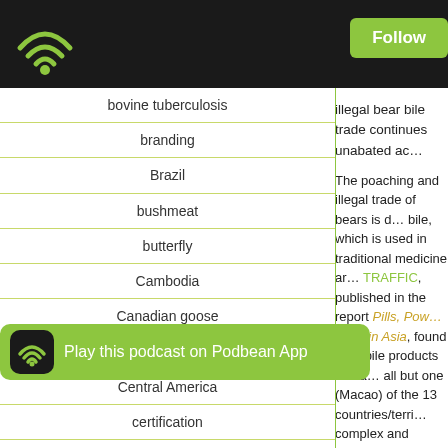Podbean - Follow
bovine tuberculosis
branding
Brazil
bushmeat
butterfly
Cambodia
Canadian goose
Central Africa
Central America
certification
China
CITES
Congo
coral
coral reef
cr...
defo...
DNA
illegal bear bile trade continues unabated ac...
The poaching and illegal trade of bears is d... bile, which is used in traditional medicine ar... TRAFFIC, published in the report Pills, Pow... trade in Asia, found bear bile products on sa... all but one (Macao) of the 13 countries/terri... complex and robust trade in bear products. China, Hong Kong, Malaysia, Myanmar ano... were most frequently observed. While bile f... sold domestically, TRAFFIC found this Chin... across the border. It also noted that "Mom &... in Laos and Myanmar, making these countr...
Kaitlyn-Elizabeth Foley is a senior programm... ropology from... e Conservatio... Her main research interests include wild...
[Figure (screenshot): Play this podcast on Podbean App banner with green background, Podbean icon, and text]